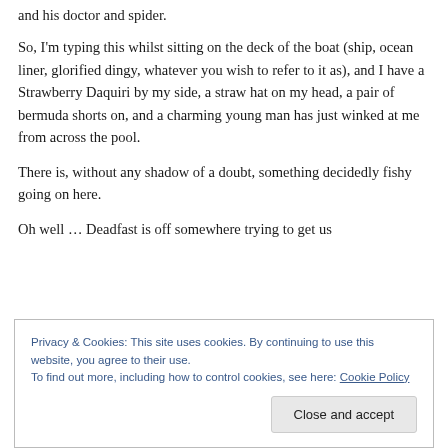and his doctor and spider.
So, I'm typing this whilst sitting on the deck of the boat (ship, ocean liner, glorified dingy, whatever you wish to refer to it as), and I have a Strawberry Daquiri by my side, a straw hat on my head, a pair of bermuda shorts on, and a charming young man has just winked at me from across the pool.
There is, without any shadow of a doubt, something decidedly fishy going on here.
Oh well … Deadfast is off somewhere trying to get us
Privacy & Cookies: This site uses cookies. By continuing to use this website, you agree to their use.
To find out more, including how to control cookies, see here: Cookie Policy
Close and accept